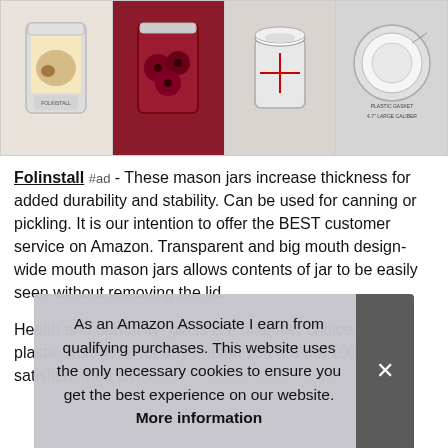[Figure (photo): Four product photos of mason jars in a horizontal strip: jar with cookies, jar with pickled red onions/beets, jar with lid detail, jar showing plastic gasket and wide caliber lid]
Folinstall #ad - These mason jars increase thickness for added durability and stability. Can be used for canning or pickling. It is our intention to offer the BEST customer service on Amazon. Transparent and big mouth design- wide mouth mason jars allows contents of jar to be easily seen without removing the lid.
Health and durability- glass is a healthier choice over plastic storage. If for any reason you are not 100% satisfied, then CON... Wha... Also... mor...
As an Amazon Associate I earn from qualifying purchases. This website uses the only necessary cookies to ensure you get the best experience on our website. More information